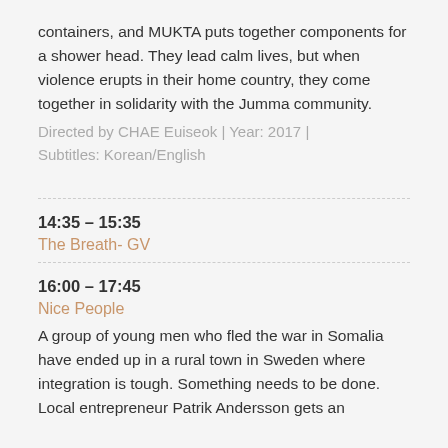containers, and MUKTA puts together components for a shower head. They lead calm lives, but when violence erupts in their home country, they come together in solidarity with the Jumma community.
Directed by CHAE Euiseok | Year: 2017 | Subtitles: Korean/English
14:35 – 15:35
The Breath- GV
16:00 – 17:45
Nice People
A group of young men who fled the war in Somalia have ended up in a rural town in Sweden where integration is tough. Something needs to be done. Local entrepreneur Patrik Andersson gets an